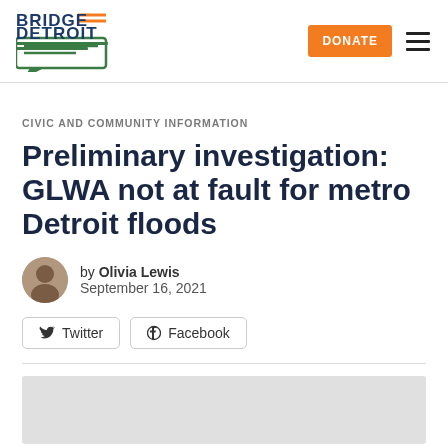Bridge Detroit — DONATE navigation
CIVIC AND COMMUNITY INFORMATION
Preliminary investigation: GLWA not at fault for metro Detroit floods
by Olivia Lewis
September 16, 2021
Twitter   Facebook